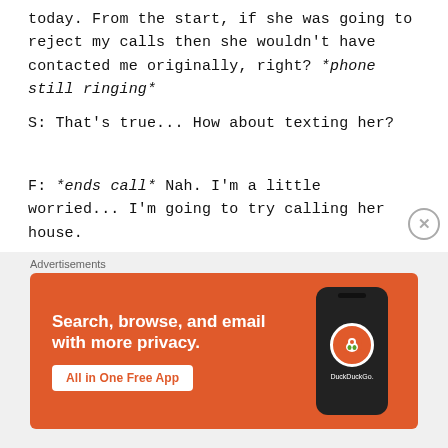today. From the start, if she was going to reject my calls then she wouldn't have contacted me originally, right? *phone still ringing*
S: That's true... How about texting her?
F: *ends call* Nah. I'm a little worried... I'm going to try calling her house.
[05:22]
S: Huh? You... Isn't that going to bother her
[Figure (screenshot): DuckDuckGo advertisement banner with orange background. Text: 'Search, browse, and email with more privacy. All in One Free App' with DuckDuckGo logo and phone image.]